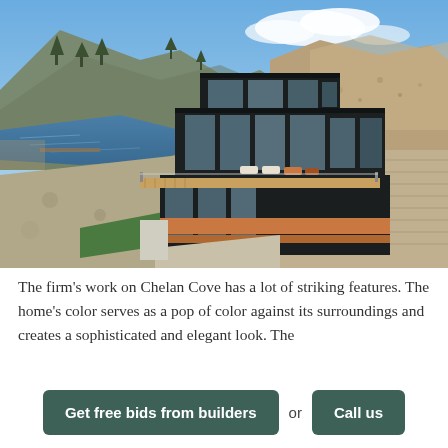[Figure (photo): Aerial/drone photo of a modern multi-story home with dark/black siding, large glass windows, wood-accented decks with lounge chairs, set on a rocky hillside beside a lake or river with mountains and trees in the background under a partly cloudy blue sky. Known as Chelan Cove.]
The firm's work on Chelan Cove has a lot of striking features. The home's color serves as a pop of color against its surroundings and creates a sophisticated and elegant look. The
Get free bids from builders
or
Call us